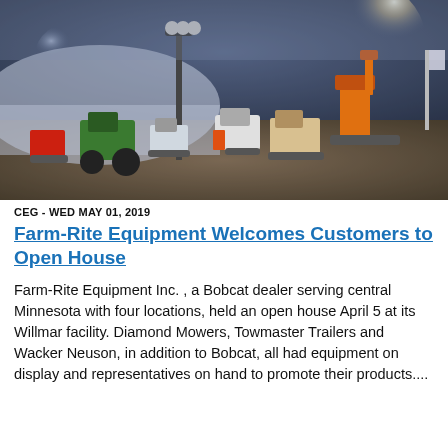[Figure (photo): Nighttime outdoor lot filled with construction equipment including bobcats, skid steers, excavators, and tractors under bright lights and misty atmosphere with a large dome structure in background.]
CEG - WED MAY 01, 2019
Farm-Rite Equipment Welcomes Customers to Open House
Farm-Rite Equipment Inc. , a Bobcat dealer serving central Minnesota with four locations, held an open house April 5 at its Willmar facility. Diamond Mowers, Towmaster Trailers and Wacker Neuson, in addition to Bobcat, all had equipment on display and representatives on hand to promote their products....